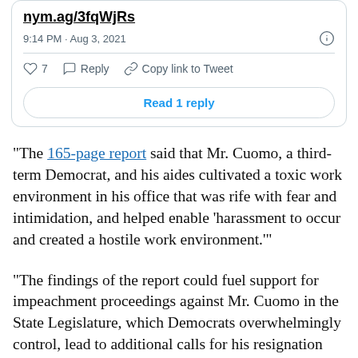nym.ag/3fqWjRs
9:14 PM · Aug 3, 2021
♡ 7   Reply   Copy link to Tweet
Read 1 reply
“The 165-page report said that Mr. Cuomo, a third-term Democrat, and his aides cultivated a toxic work environment in his office that was rife with fear and intimidation, and helped enable ‘harassment to occur and created a hostile work environment.’”
“The findings of the report could fuel support for impeachment proceedings against Mr. Cuomo in the State Legislature, which Democrats overwhelmingly control, lead to additional calls for his resignation and his...